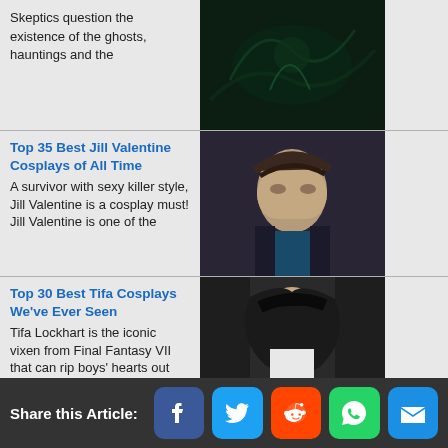Skeptics question the existence of the ghosts, hauntings and the
[Figure (photo): Dark atmospheric haunted scene with green glowing elements]
Top 35 Best Jill Valentine Cosplays of All Time
A survivor with sexy killer style, Jill Valentine is a cosplay must! Jill Valentine is one of the
[Figure (photo): Woman with short dark hair in cosplay costume as Jill Valentine]
Top 30 Best Tifa Cosplays We've Ever Seen
Tifa Lockhart is the iconic vixen from Final Fantasy VII that can rip boys' hearts out with her
[Figure (photo): Woman with long dark hair in white top and red glove as Tifa Lockhart cosplay]
The 30 Best Sonya Blade Cosplays We've Ever Seen
There can only be one original on the Mortal Kombat women's roster. When Mortal Kombat
[Figure (photo): Blonde woman in military tactical gear as Sonya Blade cosplay in ruined building]
Share this Article: